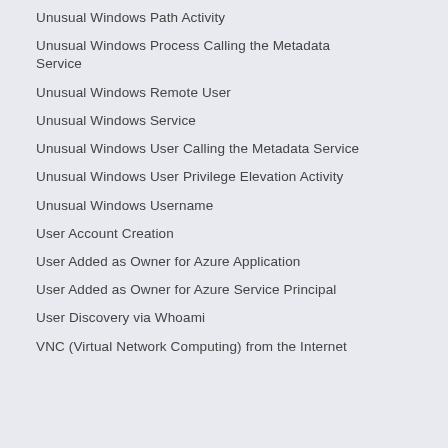Unusual Windows Path Activity
Unusual Windows Process Calling the Metadata Service
Unusual Windows Remote User
Unusual Windows Service
Unusual Windows User Calling the Metadata Service
Unusual Windows User Privilege Elevation Activity
Unusual Windows Username
User Account Creation
User Added as Owner for Azure Application
User Added as Owner for Azure Service Principal
User Discovery via Whoami
VNC (Virtual Network Computing) from the Internet